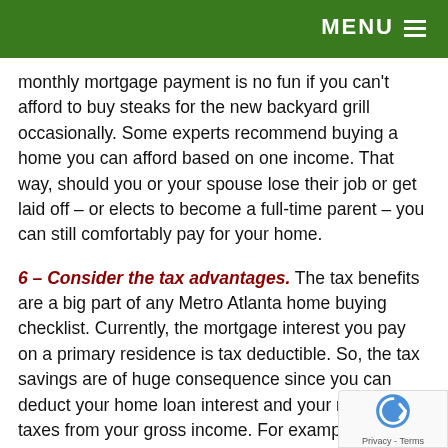MENU
monthly mortgage payment is no fun if you can't afford to buy steaks for the new backyard grill occasionally. Some experts recommend buying a home you can afford based on one income. That way, should you or your spouse lose their job or get laid off – or elects to become a full-time parent – you can still comfortably pay for your home.
6 – Consider the tax advantages. The tax benefits are a big part of any Metro Atlanta home buying checklist. Currently, the mortgage interest you pay on a primary residence is tax deductible. So, the tax savings are of huge consequence since you can deduct your home loan interest and your real esta taxes from your gross income. For example, if yo earned $75,000 in gross income in 2016 and you paid